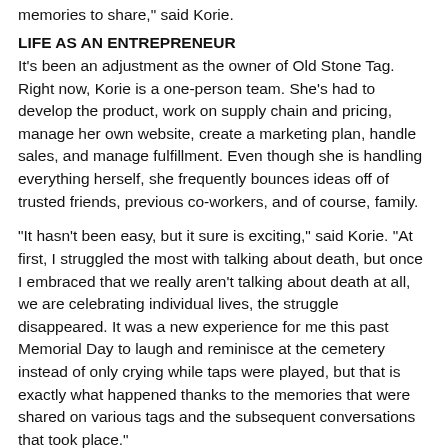memories to share," said Korie.
LIFE AS AN ENTREPRENEUR
It's been an adjustment as the owner of Old Stone Tag. Right now, Korie is a one-person team. She's had to develop the product, work on supply chain and pricing, manage her own website, create a marketing plan, handle sales, and manage fulfillment. Even though she is handling everything herself, she frequently bounces ideas off of trusted friends, previous co-workers, and of course, family.
“It hasn't been easy, but it sure is exciting,” said Korie. “At first, I struggled the most with talking about death, but once I embraced that we really aren’t talking about death at all, we are celebrating individual lives, the struggle disappeared. It was a new experience for me this past Memorial Day to laugh and reminisce at the cemetery instead of only crying while taps were played, but that is exactly what happened thanks to the memories that were shared on various tags and the subsequent conversations that took place.”
Right now, Korie has found that word-of-mouth advertising has been her best tool. People love Old Stone Tag, and as they tell or show people how it works, then the customer base grows.